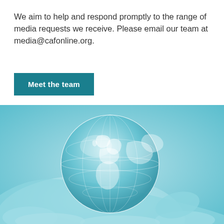We aim to help and respond promptly to the range of media requests we receive. Please email our team at media@cafonline.org.
Meet the team
[Figure (photo): A pair of hands holding a glass globe/crystal ball with a world map, tinted in teal/cyan blue tones]